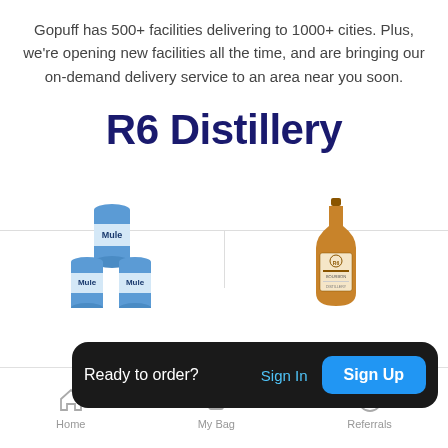Gopuff has 500+ facilities delivering to 1000+ cities. Plus, we're opening new facilities all the time, and are bringing our on-demand delivery service to an area near you soon.
R6 Distillery
[Figure (photo): Three blue and white beer/malt beverage cans stacked in a pyramid arrangement]
[Figure (photo): A brown glass whiskey/spirits bottle with an R6 Distillery label]
Ready to order?
Sign In
Sign Up
Home   My Bag   Referrals